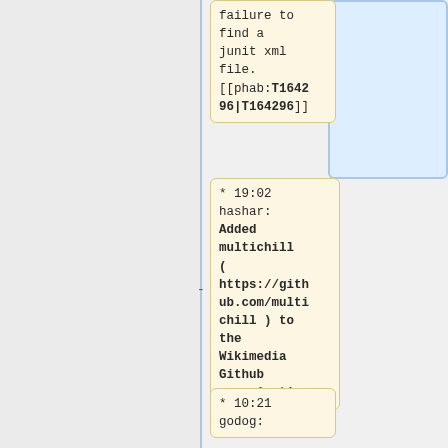failure to find a junit xml file. [[phab:T164296|T164296]]
* 19:02 hashar: Added multichill ( https://github.com/multichill ) to the Wikimedia Github organization
* 10:21 godog: